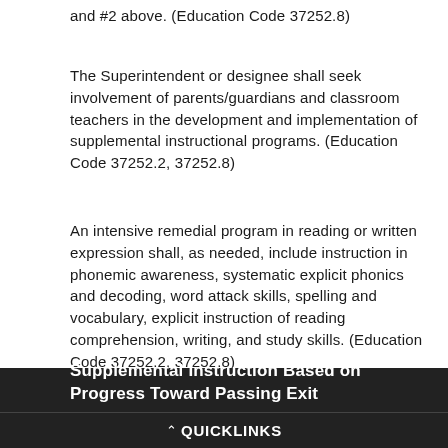and #2 above. (Education Code 37252.8)
The Superintendent or designee shall seek involvement of parents/guardians and classroom teachers in the development and implementation of supplemental instructional programs. (Education Code 37252.2, 37252.8)
An intensive remedial program in reading or written expression shall, as needed, include instruction in phonemic awareness, systematic explicit phonics and decoding, word attack skills, spelling and vocabulary, explicit instruction of reading comprehension, writing, and study skills. (Education Code 37252.2, 37252.8)
Supplemental Instruction Based on Progress Toward Passing Exit
^ QUICKLINKS